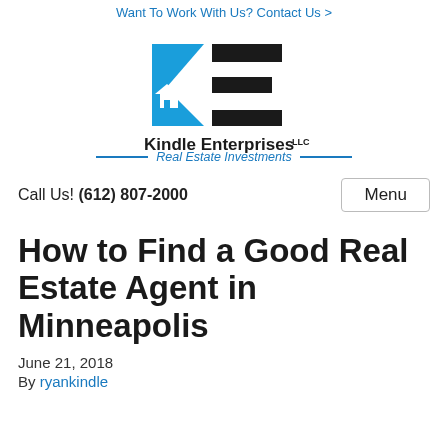Want To Work With Us? Contact Us >
[Figure (logo): Kindle Enterprises LLC logo with KE monogram in blue and black, and tagline 'Real Estate Investments']
Call Us! (612) 807-2000
Menu
How to Find a Good Real Estate Agent in Minneapolis
June 21, 2018
By ryankindle